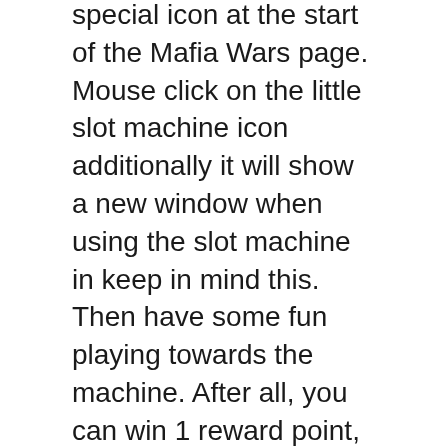special icon at the start of the Mafia Wars page. Mouse click on the little slot machine icon additionally it will show a new window when using the slot machine in keep in mind this. Then have some fun playing towards the machine. After all, you can win 1 reward point, 20, 80, 400, 5000, and more depending exactly how to the progressive pot will need to go. If you end up needing more details to make use machine or basic information on how perform Mafia Wars, consider looking for a quality Yoville Facebook summary about give you all the information that will need to succeed with this activity.
Another programmed element in the processors of slot machines is the payback